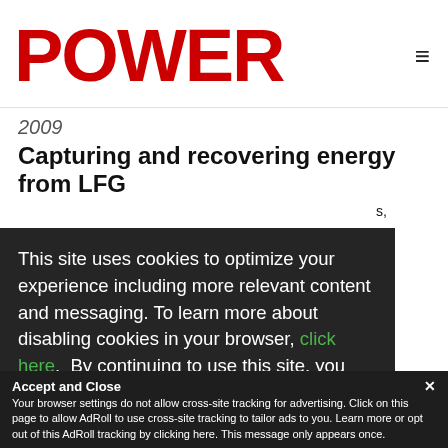POWER
2009
Capturing and recovering energy from LFG
This site uses cookies to optimize your experience including more relevant content and messaging. To learn more about disabling cookies in your browser, click here. By continuing to use this site, you accept our use of cookies. For more information, view our updated Privacy Policy.
I consent
Accept and Close ✕
Your browser settings do not allow cross-site tracking for advertising. Click on this page to allow AdRoll to use cross-site tracking to tailor ads to you. Learn more or opt out of this AdRoll tracking by clicking here. This message only appears once.